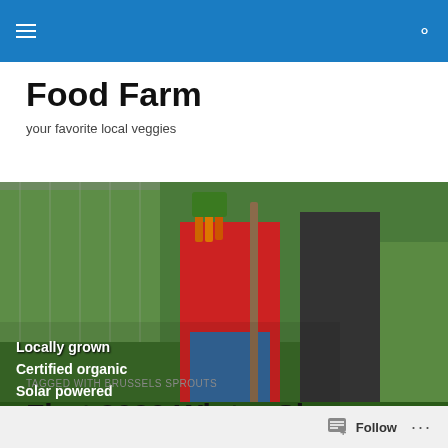Food Farm - navigation bar with hamburger menu and search icon
Food Farm
your favorite local veggies
[Figure (photo): Two farmers in a field holding freshly harvested carrots with green leafy tops, lush green crops in background, greenhouse visible. Overlay text: Locally grown, Certified organic, Solar powered, & Community supported since 1975]
TAGGED WITH BRUSSELS SPROUTS
First 2020 Winter Share. November
Follow ...